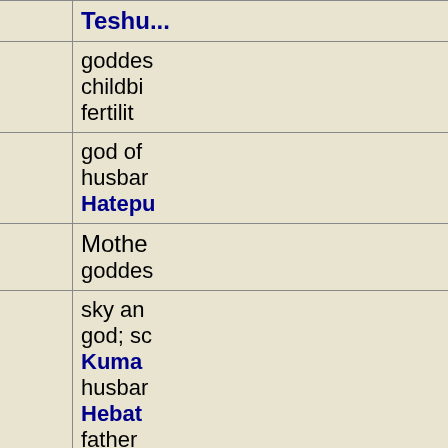| Name | Origin | Description |
| --- | --- | --- |
| Taweret | Egypt; Hyksos | goddess of childbirth; fertility |
| Telipinu | Hittite; Troy | god of husband; Hatepu... |
| Terra Mater | Rome | Mother goddess |
| Teshub | Mitanni | sky and storm god; son Kumarbi; husband Hebat; father Sharru; brother Tasmis |
| Tezcatlipoca | Aztec | god of night and sky |
| Thaddeus (Jude) | Christianity | apostle of Christ; martyr Beirut |